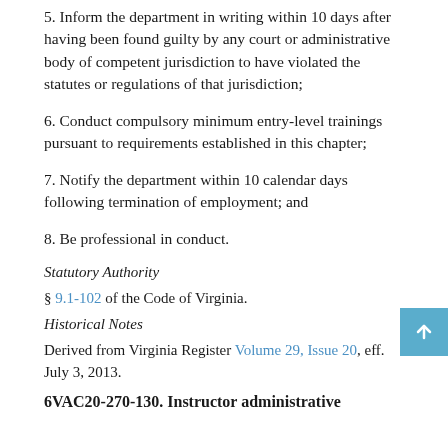5. Inform the department in writing within 10 days after having been found guilty by any court or administrative body of competent jurisdiction to have violated the statutes or regulations of that jurisdiction;
6. Conduct compulsory minimum entry-level trainings pursuant to requirements established in this chapter;
7. Notify the department within 10 calendar days following termination of employment; and
8. Be professional in conduct.
Statutory Authority
§ 9.1-102 of the Code of Virginia.
Historical Notes
Derived from Virginia Register Volume 29, Issue 20, eff. July 3, 2013.
6VAC20-270-130. Instructor administrative